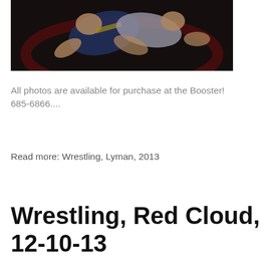[Figure (photo): Wrestling action photo showing two wrestlers grappling on a dark mat, one in a blue and gold uniform]
All photos are available for purchase at the Booster! 685-6866....
Read more: Wrestling, Lyman, 2013
Wrestling, Red Cloud, 12-10-13